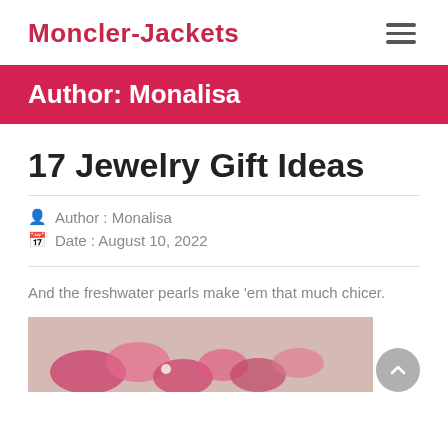Moncler-Jackets
Author: Monalisa
17 Jewelry Gift Ideas
Author : Monalisa
Date : August 10, 2022
And the freshwater pearls make 'em that much chicer.
[Figure (photo): Partial view of red and white jewelry pieces with pearl accents on a light background]